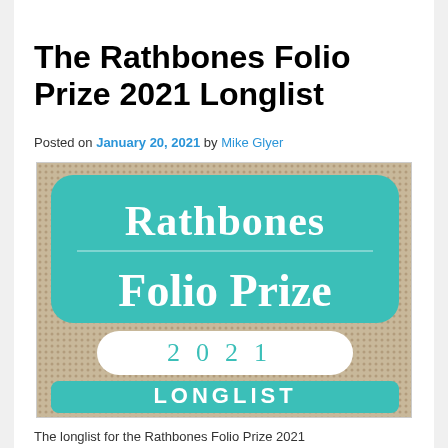The Rathbones Folio Prize 2021 Longlist
Posted on January 20, 2021 by Mike Glyer
[Figure (logo): Rathbones Folio Prize 2021 Longlist logo on a textured background. Teal rounded rectangle with white text reading 'Rathbones Folio Prize', a white pill-shaped badge reading '2 0 2 1', and a teal banner reading 'LONGLIST'.]
The longlist for the Rathbones Folio Prize 2021